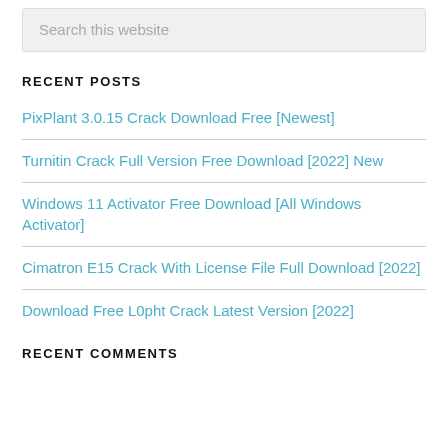Search this website
RECENT POSTS
PixPlant 3.0.15 Crack Download Free [Newest]
Turnitin Crack Full Version Free Download [2022] New
Windows 11 Activator Free Download [All Windows Activator]
Cimatron E15 Crack With License File Full Download [2022]
Download Free L0pht Crack Latest Version [2022]
RECENT COMMENTS